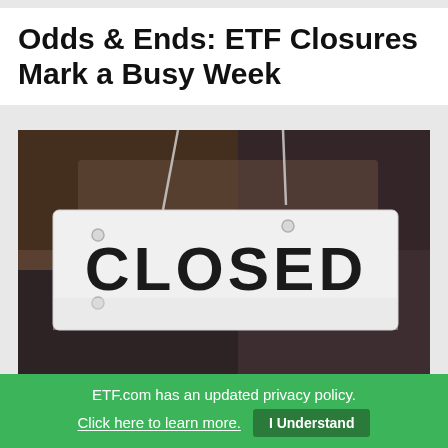Odds & Ends: ETF Closures Mark a Busy Week
[Figure (photo): A white 'CLOSED' sign hanging by ropes against a blurred storefront background]
ETF.com has an updated privacy policy.
Click here to learn more.  I Understand